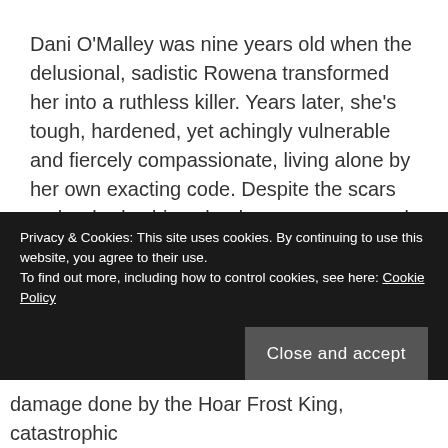Dani O'Malley was nine years old when the delusional, sadistic Rowena transformed her into a ruthless killer. Years later, she's tough, hardened, yet achingly vulnerable and fiercely compassionate, living alone by her own exacting code. Despite the scars on her body, driven by deeper ones carved into her soul, no one is more committed to protecting Dublin. By day, she ensures the safety of those she rescues, by night she hunts evil, dispensing justice swiftly and without mercy, determined to give those she cares for the peace she has never known.
Privacy & Cookies: This site uses cookies. By continuing to use this website, you agree to their use. To find out more, including how to control cookies, see here: Cookie Policy
Close and accept
damage done by the Hoar Frost King, catastrophic